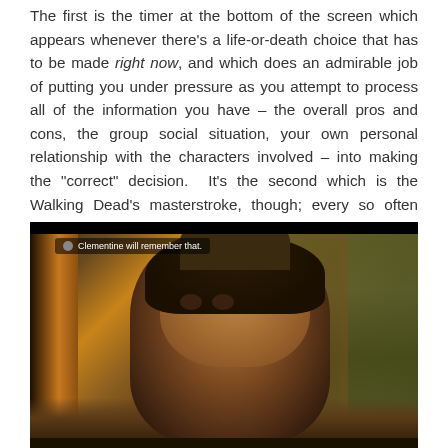The first is the timer at the bottom of the screen which appears whenever there's a life-or-death choice that has to be made right now, and which does an admirable job of putting you under pressure as you attempt to process all of the information you have – the overall pros and cons, the group social situation, your own personal relationship with the characters involved – into making the "correct" decision.  It's the second which is the Walking Dead's masterstroke, though; every so often during a conversation you'll give a response and a message will flash up in the top left corner of the screen, like this:
[Figure (screenshot): A screenshot from The Walking Dead game showing a young girl character (Clementine) looking upward with a notification in the top-left reading 'Clementine will remember that.' The scene has warm brown tones with wooden elements and outdoor background.]